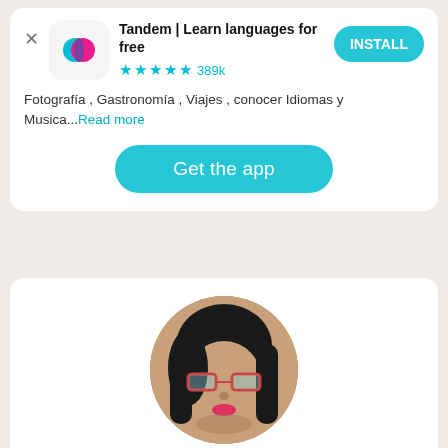[Figure (screenshot): Tandem app advertisement banner with logo icon, title, star rating, install button, text about app features, and a Get the app button]
Tandem | Learn languages for free
★★★★½ 389k
Fotografía , Gastronomía , Viajes , conocer Idiomas y Musica...Read more
Get the app
[Figure (photo): Circular profile photo of a woman with glasses and dark hair named Francisca from Temuco]
Francisca
Temuco